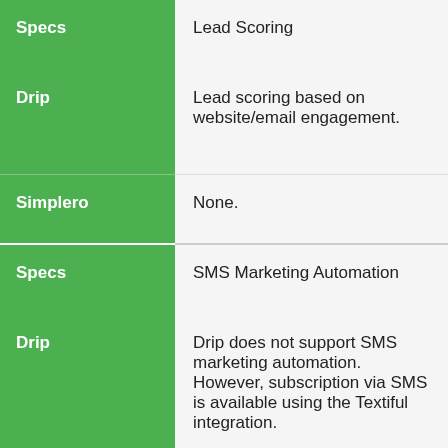| Specs | Lead Scoring |
| --- | --- |
| Specs | Lead Scoring |
| Drip | Lead scoring based on website/email engagement. |
| Simplero | None. |
| Specs | SMS Marketing Automation |
| Drip | Drip does not support SMS marketing automation. However, subscription via SMS is available using the Textiful integration. |
| Simplero | Simplero supports SMS marketing, with 500-5,000 monthly SMS messages |